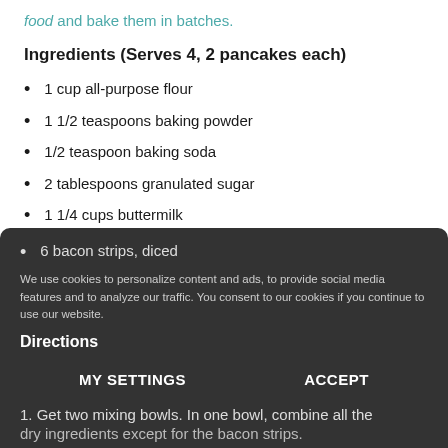food and bake them in batches.
Ingredients (Serves 4, 2 pancakes each)
1 cup all-purpose flour
1 1/2 teaspoons baking powder
1/2 teaspoon baking soda
2 tablespoons granulated sugar
1 1/4 cups buttermilk
Unsalted melted butter
1 egg (large)
Pinch of salt
6 bacon strips, diced
We use cookies to personalize content and ads, to provide social media features and to analyze our traffic. You consent to our cookies if you continue to use our website.
Directions
MY SETTINGS
ACCEPT
1. Get two mixing bowls. In one bowl, combine all the dry ingredients except for the bacon strips.